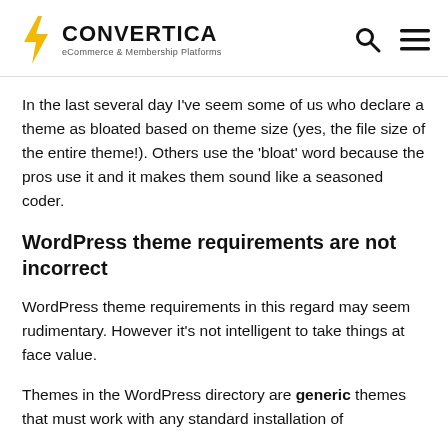CONVERTICA eCommerce & Membership Platforms
In the last several day I’ve seem some of us who declare a theme as bloated based on theme size (yes, the file size of the entire theme!). Others use the ‘bloat’ word because the pros use it and it makes them sound like a seasoned coder.
WordPress theme requirements are not incorrect
WordPress theme requirements in this regard may seem rudimentary. However it’s not intelligent to take things at face value.
Themes in the WordPress directory are generic themes that must work with any standard installation of